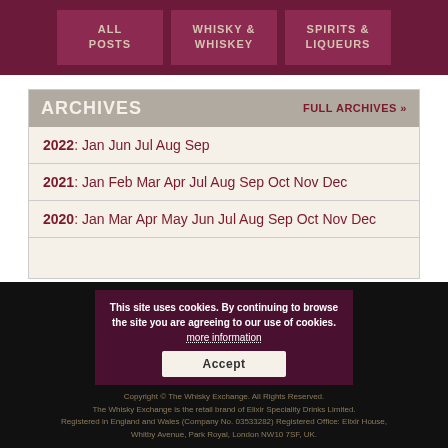ALL POSTS | WHISKY & WHISKEY | SPIRITS & LIQUEURS
ARCHIVES
FULL ARCHIVES »
2022: Jan Jun Jul Aug Sep
2021: Jan Feb Mar Apr Jul Aug Sep Oct Nov Dec
2020: Jan Mar Apr May Jun Jul Aug Sep Oct Nov Dec
This site uses cookies. By continuing to browse the site you are agreeing to our use of cookies. more information
Accept
Copyright © The Whisky Exchange. All Rights Reserved. The Whisky Exchange is the retail brand of Elixir Speciality Drinks Limited. Registered in England and Wales (Company No. 03533282) Registered Office: Elixir House, Whitby Avenue, Park Royal, London NW10 7SF, UK.